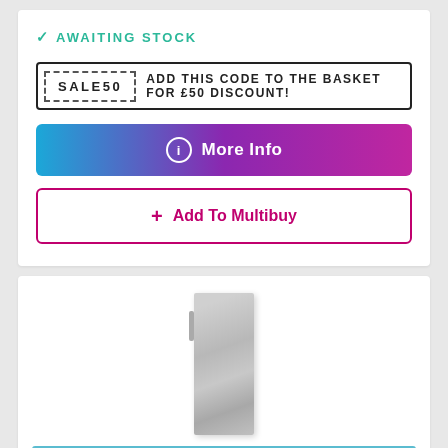✓ AWAITING STOCK
SALE50  ADD THIS CODE TO THE BASKET FOR £50 DISCOUNT!
ℹ  More Info
+ Add To Multibuy
[Figure (photo): Hisense freestanding tall freezer in silver/stainless steel finish]
Limited Stock Available!
Hisense FV306N4BC11 60cm Freestanding Frost Free Freezer –